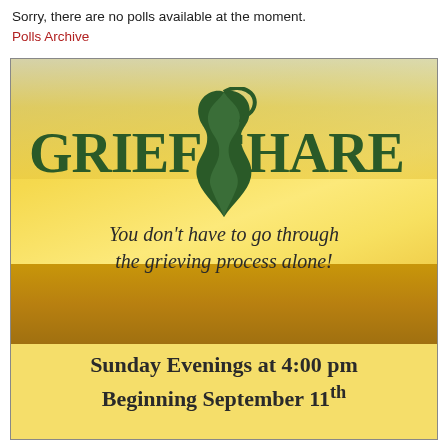Sorry, there are no polls available at the moment.
Polls Archive
[Figure (illustration): GriefShare promotional flyer/advertisement. Yellow-golden gradient background with sky tones at top. Features the GriefShare logo (text 'GriefShare' in dark green serif font with a stylized dark green dove/flame symbol between the two words). Tagline reads: 'You don’t have to go through the grieving process alone!' in italic dark text over golden background. Lower light-yellow section shows event details: 'Sunday Evenings at 4:00 pm' and 'Beginning September 11th'.]